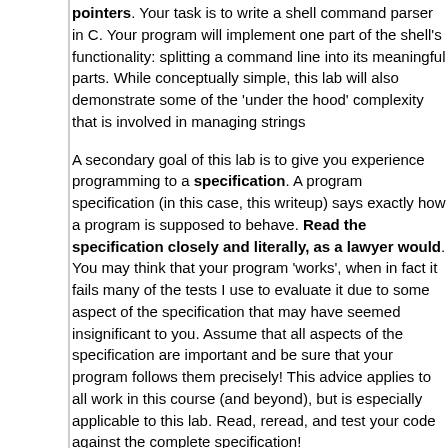pointers. Your task is to write a shell command parser in C. Your program will implement one part of the shell's functionality: splitting a command line into its meaningful parts. While conceptually simple, this lab will also demonstrate some of the 'under the hood' complexity that is involved in managing strings
A secondary goal of this lab is to give you experience programming to a specification. A program specification (in this case, this writeup) says exactly how a program is supposed to behave. Read the specification closely and literally, as a lawyer would. You may think that your program 'works', when in fact it fails many of the tests I use to evaluate it due to some aspect of the specification that may have seemed insignificant to you. Assume that all aspects of the specification are important and be sure that your program follows them precisely! This advice applies to all work in this course (and beyond), but is especially applicable to this lab. Read, reread, and test your code against the complete specification!
Lab Overview
The shell is the program that reads and interprets the command will implement one component of a shell: the command parser name and its command-line arguments (e.g., 'gcc -Wall fi which is an array of the strings comprising the command line (e